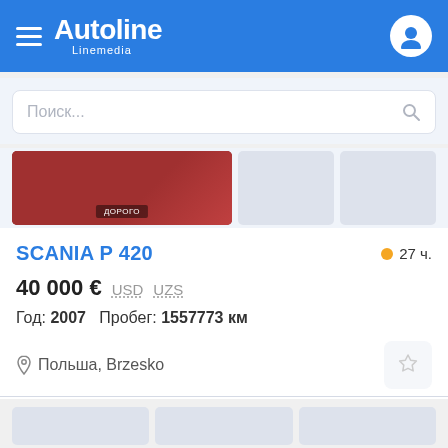Autoline Linemedia
Поиск...
[Figure (photo): Partial vehicle image strip with a red truck cab visible on left, two placeholder grey panels on right]
SCANIA P 420
27 ч.
40 000 € USD UZS
Год: 2007   Пробег: 1557773 км
Польша, Brzesko
[Figure (photo): Three grey placeholder image boxes for next listing]